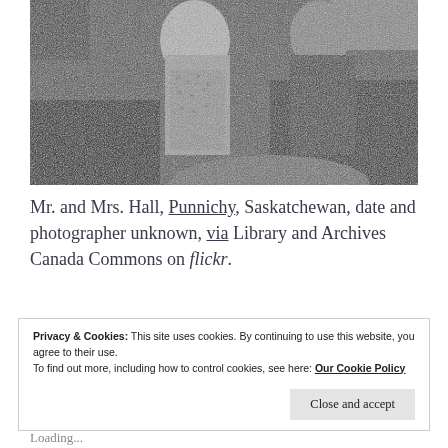[Figure (photo): Black and white photograph of Mr. and Mrs. Hall sitting outdoors in a garden setting, dressed in period clothing]
Mr. and Mrs. Hall, Punnichy, Saskatchewan, date and photographer unknown, via Library and Archives Canada Commons on flickr.
Privacy & Cookies: This site uses cookies. By continuing to use this website, you agree to their use.
To find out more, including how to control cookies, see here: Our Cookie Policy
Close and accept
Loading...